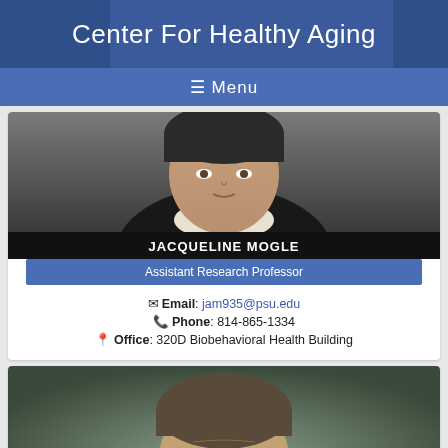Center For Healthy Aging
☰ Menu
[Figure (photo): Partial photo of Jacqueline Mogle, a woman in a black top, cropped showing upper body and face from chin up]
JACQUELINE MOGLE
Assistant Research Professor
Email: jam935@psu.edu
Phone: 814-865-1334
Office: 320D Biobehavioral Health Building
[Figure (photo): Partial photo of a man with a shaved head, cropped showing forehead, eyes and top of face against a gray-green gradient background]